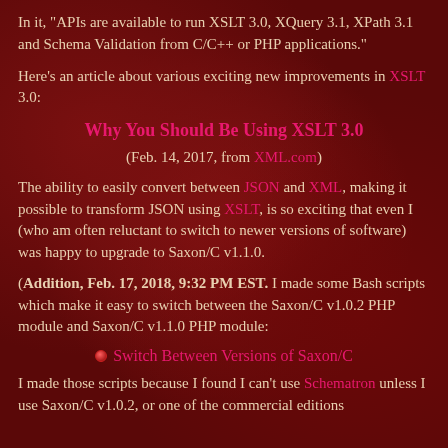In it, "APIs are available to run XSLT 3.0, XQuery 3.1, XPath 3.1 and Schema Validation from C/C++ or PHP applications."
Here's an article about various exciting new improvements in XSLT 3.0:
Why You Should Be Using XSLT 3.0
(Feb. 14, 2017, from XML.com)
The ability to easily convert between JSON and XML, making it possible to transform JSON using XSLT, is so exciting that even I (who am often reluctant to switch to newer versions of software) was happy to upgrade to Saxon/C v1.1.0.
(Addition, Feb. 17, 2018, 9:32 PM EST. I made some Bash scripts which make it easy to switch between the Saxon/C v1.0.2 PHP module and Saxon/C v1.1.0 PHP module:
Switch Between Versions of Saxon/C
I made those scripts because I found I can't use Schematron unless I use Saxon/C v1.0.2, or one of the commercial editions